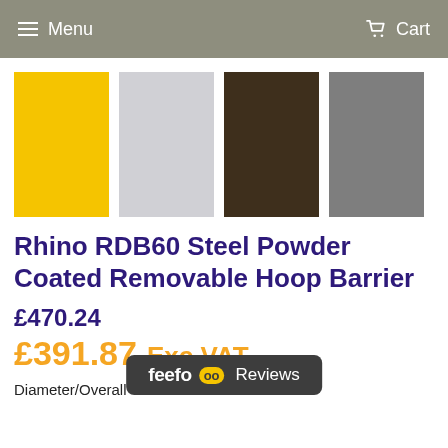Menu  Cart
[Figure (other): Four color swatches: yellow, light gray, dark brown, gray]
Rhino RDB60 Steel Powder Coated Removable Hoop Barrier
£470.24
£391.87 Exc.VAT
[Figure (logo): feefo Reviews logo badge]
Diameter/Overall